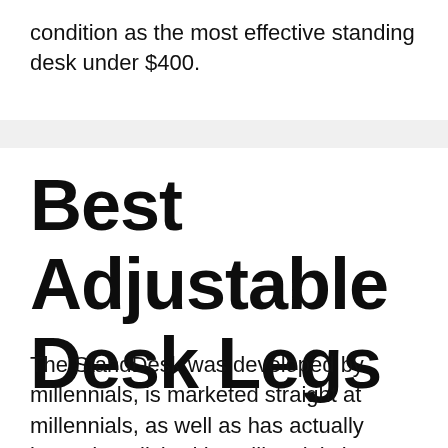condition as the most effective standing desk under $400.
Best Adjustable Desk Legs
The StandDesk was developed by millennials, is marketed straight at millennials, as well as has actually been demolished by millennials in outstanding quantities. While it carries a ten-year service warranty (the lengthiest of any type of Chinese-made base), in this instance it's not